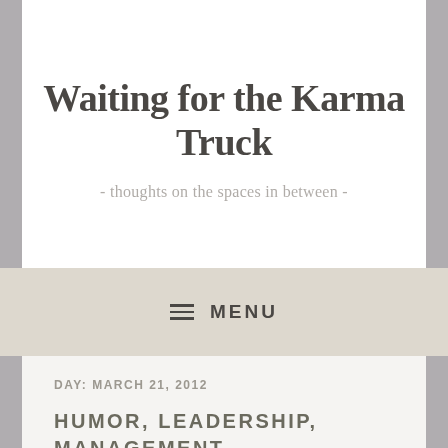Waiting for the Karma Truck
- thoughts on the spaces in between -
≡ MENU
DAY: MARCH 21, 2012
HUMOR, LEADERSHIP, MANAGEMENT, MOTIVATION, WORK LIFE